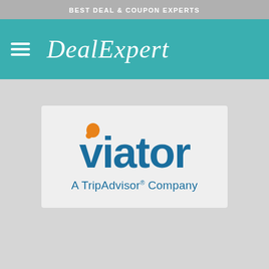BEST DEAL & COUPON EXPERTS
DealExpert
[Figure (logo): Viator logo with orange speech-bubble dot above the 'i', bold teal 'viator' wordmark, and tagline 'A TripAdvisor® Company' in teal below]